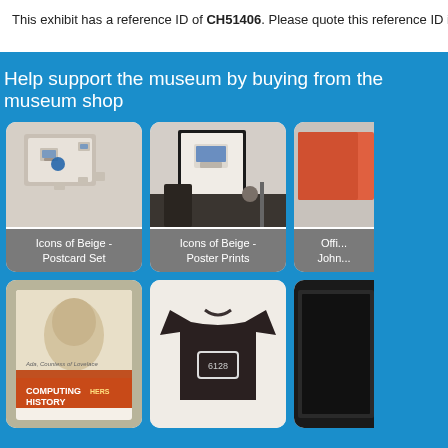This exhibit has a reference ID of CH51406. Please quote this reference ID in any commun
Help support the museum by buying from the museum shop
[Figure (photo): Icons of Beige - Postcard Set: photo of postcard set with retro computer images]
Icons of Beige - Postcard Set
[Figure (photo): Icons of Beige - Poster Prints: photo of a framed poster print of a retro computer on a desk]
Icons of Beige - Poster Prints
[Figure (photo): Partially visible product card on the right (Offi... John...)]
Offi... John...
[Figure (photo): Computing Hers History book cover showing Ada Countess of Lovelace]
[Figure (photo): Dark t-shirt with retro computer logo]
[Figure (photo): Partially visible product on the right side, dark item]